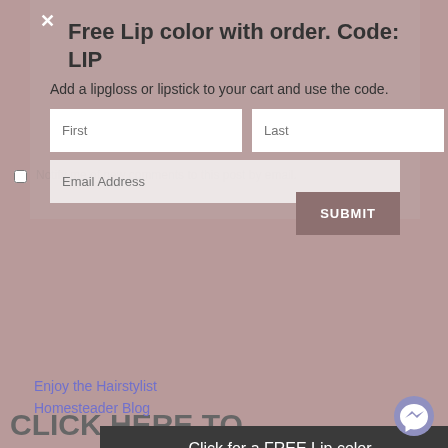Free Lip color with order. Code: LIP
Add a lipgloss or lipstick to your cart and use the code.
Notify me of new comments to this post by email.
[Figure (screenshot): Form with First and Last name input fields, Email Address input field, and a SUBMIT button]
Enjoy the Hairstylist
Homesteader Blog
CLICK HERE TO SUBSCRIBE TO THE NEWSLETTER
Click for a FREE Lip color
No Thanks!
* INDICATES REQUIRED FIELD
EMAIL *